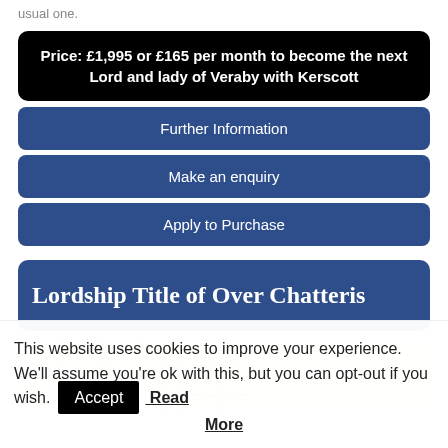usual one.
Price: £1,995 or £165 per month to become the next Lord and lady of Veraby with Kerscott
Further Information
Make an enquiry
Apply to Purchase
Lordship Title of Over Chatteris
[Figure (map): A historical map showing Over Chatteris area with roads, settlements and terrain markings in a sepia/cream tone.]
This website uses cookies to improve your experience. We'll assume you're ok with this, but you can opt-out if you wish. Accept Read More